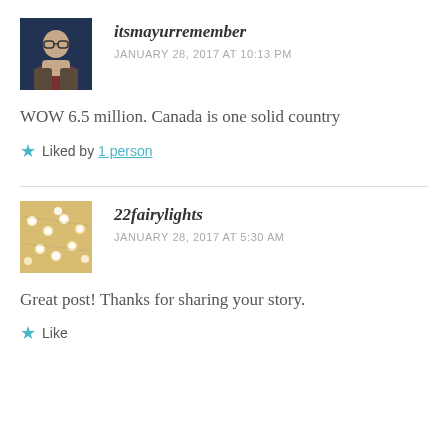itsmayurremember
JANUARY 28, 2017 AT 10:13 PM
WOW 6.5 million. Canada is one solid country
Liked by 1 person
22fairylights
JANUARY 28, 2017 AT 5:30 AM
Great post! Thanks for sharing your story.
Like